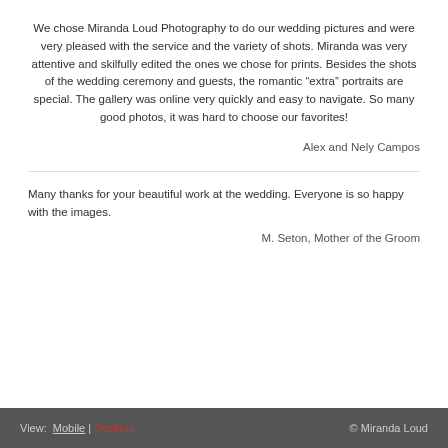We chose Miranda Loud Photography to do our wedding pictures and were very pleased with the service and the variety of shots. Miranda was very attentive and skilfully edited the ones we chose for prints. Besides the shots of the wedding ceremony and guests, the romantic “extra” portraits are special. The gallery was online very quickly and easy to navigate. So many good photos, it was hard to choose our favorites!
Alex and Nely Campos
Many thanks for your beautiful work at the wedding. Everyone is so happy with the images.
M. Seton, Mother of the Groom
View: Mobile | Desktop  © Miranda Loud